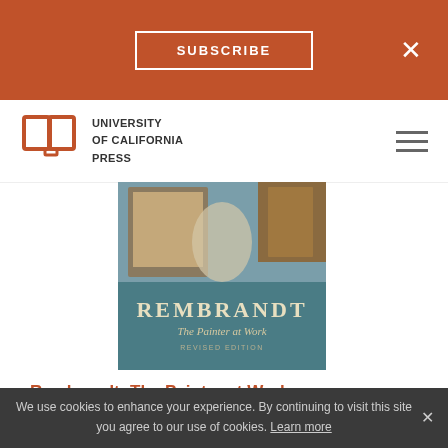SUBSCRIBE
[Figure (logo): University of California Press logo with open book icon]
[Figure (photo): Book cover of Rembrandt: The Painter at Work, Revised Edition, showing teal cover with Rembrandt title text and a painting detail]
Rembrandt: The Painter at Work
by Ernst van de Wetering (Author)
April 2009
Paperback $49.95
We use cookies to enhance your experience. By continuing to visit this site you agree to our use of cookies. Learn more